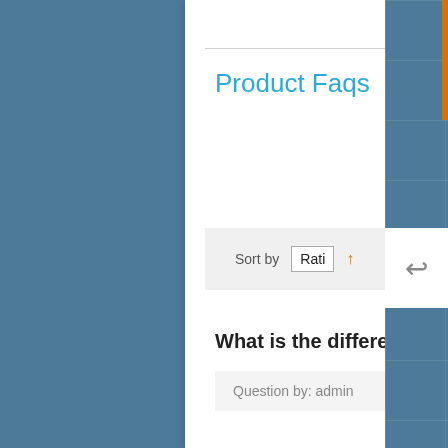Product Faqs
ASK A QUESTION
Sort by  Rati ↑
What is the difference between a thermometer and a probe?
Question by: admin